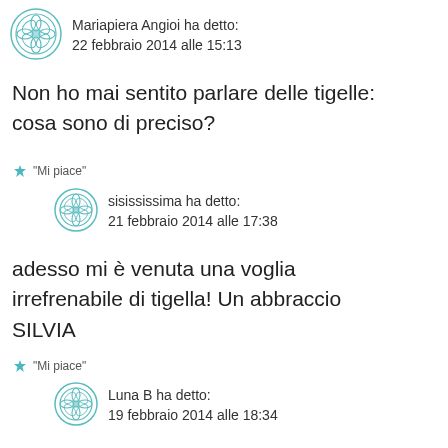Mariapiera Angioi ha detto:
22 febbraio 2014 alle 15:13
Non ho mai sentito parlare delle tigelle: cosa sono di preciso?
★ "Mi piace"
sisississima ha detto:
21 febbraio 2014 alle 17:38
adesso mi è venuta una voglia irrefrenabile di tigella! Un abbraccio SILVIA
★ "Mi piace"
Luna B ha detto:
19 febbraio 2014 alle 18:34